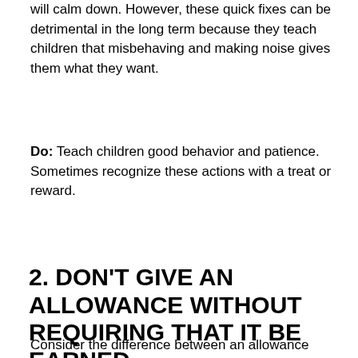will calm down. However, these quick fixes can be detrimental in the long term because they teach children that misbehaving and making noise gives them what they want.
Do: Teach children good behavior and patience. Sometimes recognize these actions with a treat or reward.
2. DON'T GIVE AN ALLOWANCE WITHOUT REQUIRING THAT IT BE EARNED.
Consider the difference between an allowance